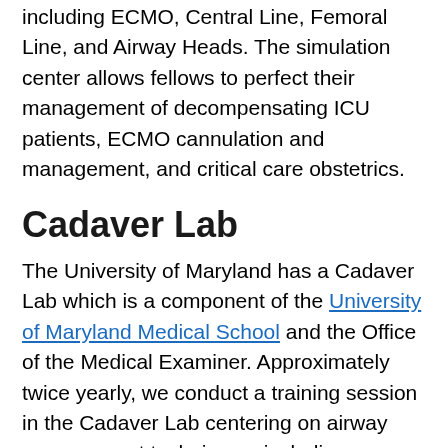including ECMO, Central Line, Femoral Line, and Airway Heads. The simulation center allows fellows to perfect their management of decompensating ICU patients, ECMO cannulation and management, and critical care obstetrics.
Cadaver Lab
The University of Maryland has a Cadaver Lab which is a component of the University of Maryland Medical School and the Office of the Medical Examiner. Approximately twice yearly, we conduct a training session in the Cadaver Lab centering on airway management techniques, including traditional direct laryngoscopy, percutaneous cricothyroidotomy, and surgical cricothyroidotomy. The training sessions also focus on pleural space management, including